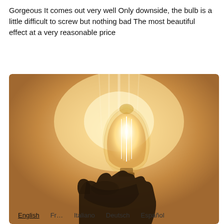Gorgeous It comes out very well Only downside, the bulb is a little difficult to screw but nothing bad The most beautiful effect at a very reasonable price
[Figure (photo): A glowing vintage Edison-style light bulb being screwed into a wall socket by a hand. The bulb emits warm orange/gold light against a warm-toned beige wall background. The filament inside the bulb is clearly visible and brightly lit.]
English   Fr...   Italiano   Deutsch   Español